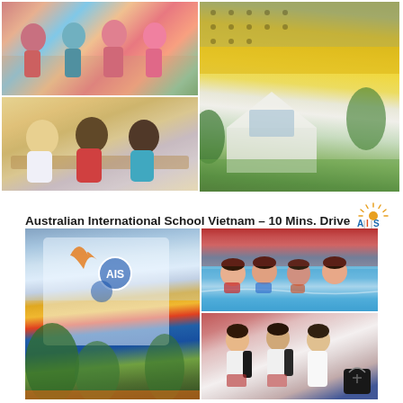[Figure (photo): Top collage: left side shows two photos of young children — top a group of children standing/playing outdoors, bottom three children drawing/coloring together; right side shows a modern school building exterior with yellow geometric facade and white house-shaped structures surrounded by greenery.]
Australian International School Vietnam – 10 Mins. Drive
[Figure (logo): AIS Saigon logo — sun rays above letters A, I, S with 'Saigon' below]
[Figure (photo): Bottom collage: left large photo of AIS school building with colorful blue/orange/white abstract design facade and trees; top-right photo of children in swimming pool laughing; bottom-right photo of school-uniformed girls with backpacks smiling.]